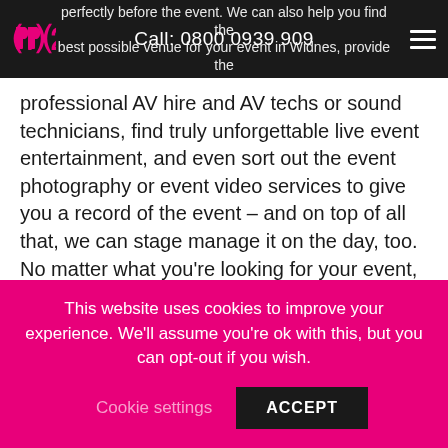Call: 0800 0939 909
perfectly before the event. We can also help you find the best possible venue for your event in Widnes, provide the professional AV hire and AV techs or sound technicians, find truly unforgettable live event entertainment, and even sort out the event photography or event video services to give you a record of the event – and on top of all that, we can stage manage it on the day, too. No matter what you're looking for your event, we're dedicated to providing it.
If you're preparing for an event, or you need one of our services in Widnes, don't hesitate to give us a call – our team are always happy to help, so get in touch today on
This website uses cookies to improve your experience. We'll assume you're ok with this, but you can opt-out if you wish.
Cookie settings   ACCEPT